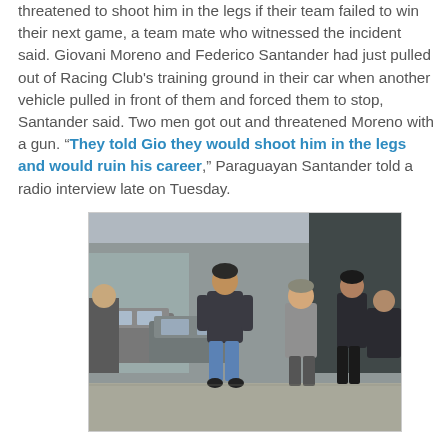threatened to shoot him in the legs if their team failed to win their next game, a team mate who witnessed the incident said. Giovani Moreno and Federico Santander had just pulled out of Racing Club's training ground in their car when another vehicle pulled in front of them and forced them to stop, Santander said. Two men got out and threatened Moreno with a gun. "They told Gio they would shoot him in the legs and would ruin his career," Paraguayan Santander told a radio interview late on Tuesday.
[Figure (photo): Outdoor photo showing several people on a street near parked cars. A man in a dark jacket and blue jeans walks forward in the center, with other people visible in the background.]